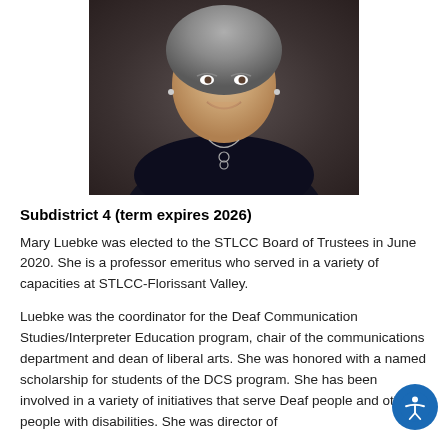[Figure (photo): Portrait photo of Mary Luebke, a woman with short gray hair wearing a black turtleneck and a necklace, smiling against a dark background.]
Subdistrict 4 (term expires 2026)
Mary Luebke was elected to the STLCC Board of Trustees in June 2020. She is a professor emeritus who served in a variety of capacities at STLCC-Florissant Valley.
Luebke was the coordinator for the Deaf Communication Studies/Interpreter Education program, chair of the communications department and dean of liberal arts. She was honored with a named scholarship for students of the DCS program. She has been involved in a variety of initiatives that serve Deaf people and other people with disabilities. She was director of Community Placement, a nonprofit organization for...